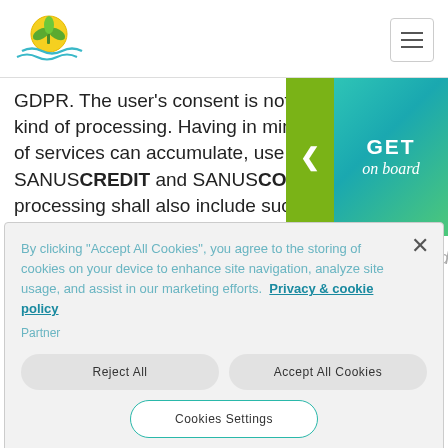[Figure (logo): Green plant/leaf logo with water waves underneath, circular yellow sun behind plant]
GDPR. The user's consent is not required for this kind of processing. Having in mind that each user of services can accumulate, use and accept INT SANUSCREDIT and SANUSCOIN, data processing shall also include such processing that is triggered by these transactions. The data so processed shall be stored for the
[Figure (infographic): GET on board promotional banner with green arrow and teal/green gradient background]
By clicking "Accept All Cookies", you agree to the storing of cookies on your device to enhance site navigation, analyze site usage, and assist in our marketing efforts. Privacy & cookie policy
Partner
Reject All
Accept All Cookies
Cookies Settings